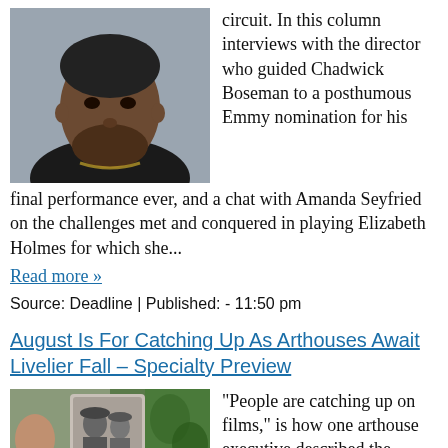[Figure (photo): Portrait photo of Chadwick Boseman in a black outfit with a gold chain necklace, against a grey background]
circuit. In this column interviews with the director who guided Chadwick Boseman to a posthumous Emmy nomination for his final performance ever, and a chat with Amanda Seyfried on the challenges met and conquered in playing Elizabeth Holmes for which she...
Read more »
Source: Deadline | Published: - 11:50 pm
August Is For Catching Up As Arthouses Await Livelier Fall – Specialty Preview
[Figure (photo): Collage of film stills or movie posters including what appears to be a black and white image of people]
“People are catching up on films,” is how one arthouse executive described the current moment